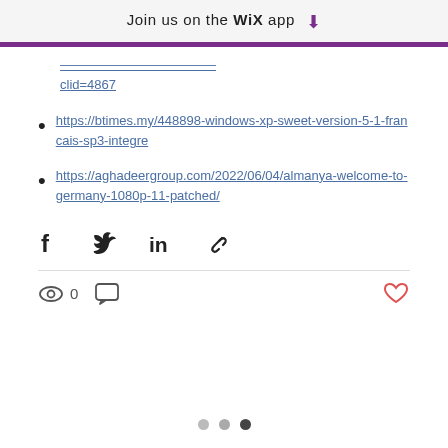Join us on the WiX app
https://btimes.my/448898-windows-xp-sweet-version-5-1-francais-sp3-integre
https://aghadeergroup.com/2022/06/04/almanya-welcome-to-germany-1080p-11-patched/
[Figure (infographic): Social share icons: Facebook, Twitter, LinkedIn, link/chain icon]
[Figure (infographic): Views eye icon with count 0, comment bubble icon, and heart/like icon in red]
[Figure (infographic): Pagination dots: three dots, first two light gray, last one dark]